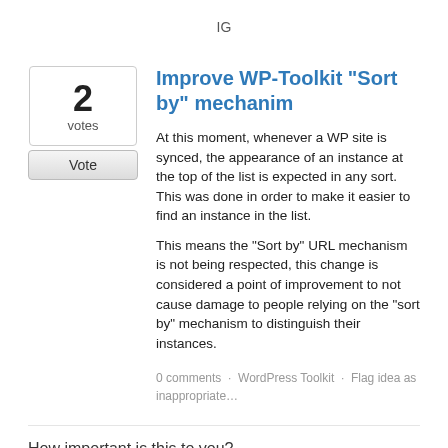IG
Improve WP-Toolkit "Sort by" mechanim
At this moment, whenever a WP site is synced, the appearance of an instance at the top of the list is expected in any sort. This was done in order to make it easier to find an instance in the list.
This means the "Sort by" URL mechanism is not being respected, this change is considered a point of improvement to not cause damage to people relying on the "sort by" mechanism to distinguish their instances.
0 comments · WordPress Toolkit · Flag idea as inappropriate…
How important is this to you?